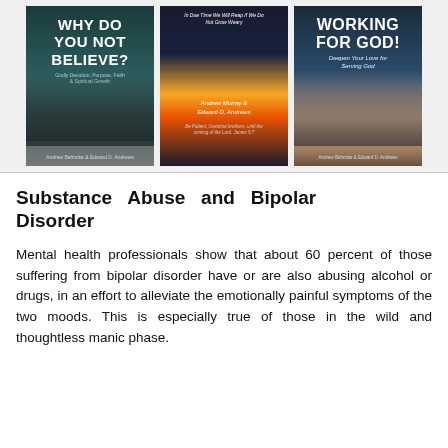[Figure (illustration): Three book covers displayed in a horizontal row: 'Why Do You Not Believe?' by Andrew Behncke & Edward D. Andrews; a middle book by Andrew Murray & Edward D. Andrews about patience and the coming of the Lord; and 'Working for God! Deepen Your Love for Serving God' by Andrew Behncke & Edward D. Andrews.]
Substance Abuse and Bipolar Disorder
Mental health professionals show that about 60 percent of those suffering from bipolar disorder have or are also abusing alcohol or drugs, in an effort to alleviate the emotionally painful symptoms of the two moods. This is especially true of those in the wild and thoughtless manic phase.